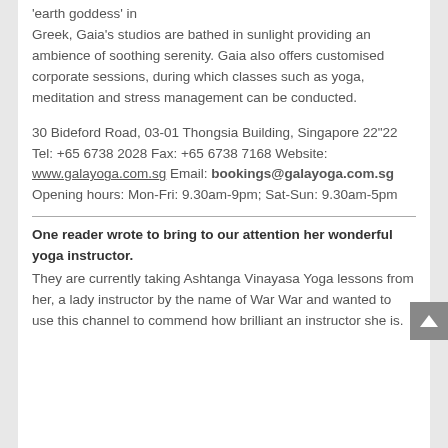'earth goddess' in Greek, Gaia's studios are bathed in sunlight providing an ambience of soothing serenity. Gaia also offers customised corporate sessions, during which classes such as yoga, meditation and stress management can be conducted.
30 Bideford Road, 03-01 Thongsia Building, Singapore 22"22 Tel: +65 6738 2028 Fax: +65 6738 7168 Website: www.galayoga.com.sg Email: bookings@galayoga.com.sg Opening hours: Mon-Fri: 9.30am-9pm; Sat-Sun: 9.30am-5pm
One reader wrote to bring to our attention her wonderful yoga instructor. They are currently taking Ashtanga Vinayasa Yoga lessons from her, a lady instructor by the name of War War and wanted to use this channel to commend how brilliant an instructor she is.